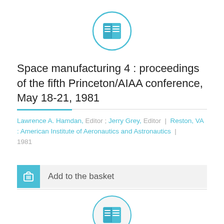[Figure (logo): Blue circle with book icon (top)]
Space manufacturing 4 : proceedings of the fifth Princeton/AIAA conference, May 18-21, 1981
Lawrence A. Hamdan, Editor ; Jerry Grey, Editor | Reston, VA : American Institute of Aeronautics and Astronautics | 1981
Add to the basket
[Figure (logo): Blue circle with book icon (bottom)]